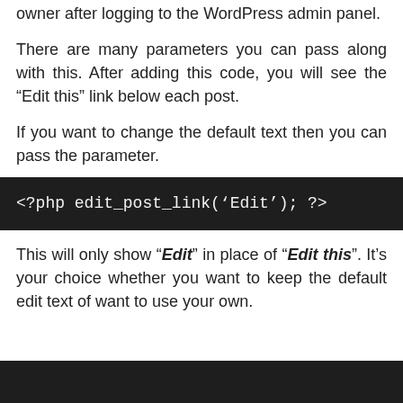owner after logging to the WordPress admin panel.
There are many parameters you can pass along with this. After adding this code, you will see the “Edit this” link below each post.
If you want to change the default text then you can pass the parameter.
<?php edit_post_link('Edit'); ?>
This will only show “Edit” in place of “Edit this”. It’s your choice whether you want to keep the default edit text of want to use your own.